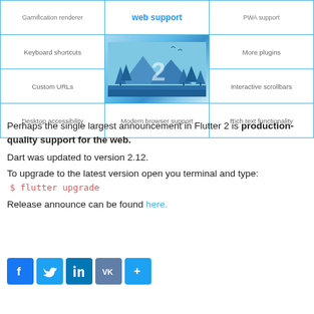[Figure (illustration): A 3x3 grid table with blue borders. Top row cells: 'Gamification renderer', 'web support' (blue heading), 'PWA support'. Middle row: 'Keyboard shortcuts', center cell with Flutter 2 illustrated scene (forest/nature with large '2'), 'More plugins'. Third row: 'Custom URLs', empty center, 'Interactive scrollbars'. Bottom row: 'Desktop accessibility', 'Modern browser support', 'Rich text functionality'.]
Perhaps the single largest announcement in Flutter 2 is production-quality support for the web.
Dart was updated to version 2.12.
To upgrade to the latest version open you terminal and type:
Release announce can be found here.
[Figure (illustration): Social sharing buttons: Facebook, Twitter, LinkedIn, VK, Share+]